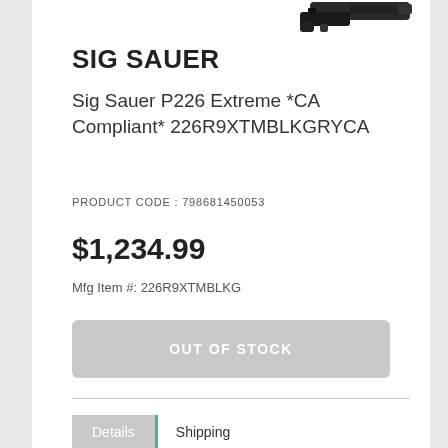[Figure (photo): Partial view of a Sig Sauer P226 pistol (dark/black) shown at top of page]
SIG SAUER
Sig Sauer P226 Extreme *CA Compliant* 226R9XTMBLKGRYCA
PRODUCT CODE : 798681450053
$1,234.99
Mfg Item #: 226R9XTMBLKG
OUT OF STOCK
Details | Shipping